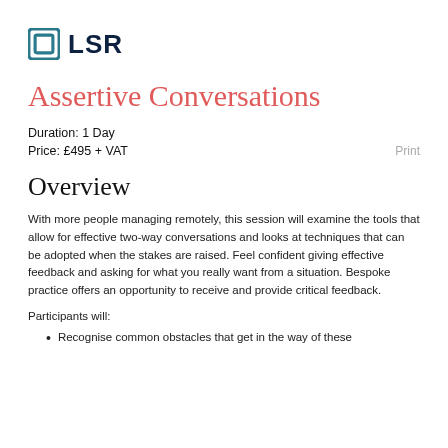[Figure (logo): LSR logo with teal square icon and dark navy text 'LSR']
Assertive Conversations
Duration: 1 Day
Price: £495 + VAT
Overview
With more people managing remotely, this session will examine the tools that allow for effective two-way conversations and looks at techniques that can be adopted when the stakes are raised. Feel confident giving effective feedback and asking for what you really want from a situation. Bespoke practice offers an opportunity to receive and provide critical feedback.
Participants will:
Recognise common obstacles that get in the way of these